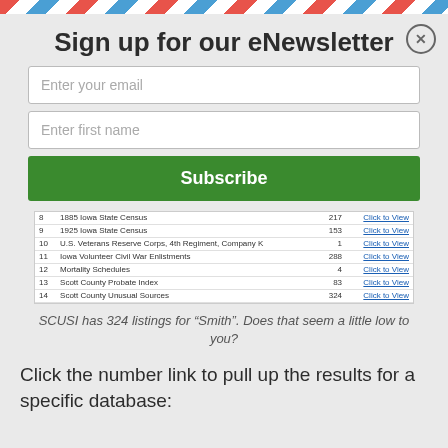Sign up for our eNewsletter
Enter your email
Enter first name
Subscribe
| # | Name | Count | Action |
| --- | --- | --- | --- |
| 8 | 1885 Iowa State Census | 217 | Click to View |
| 9 | 1925 Iowa State Census | 153 | Click to View |
| 10 | U.S. Veterans Reserve Corps, 4th Regiment, Company K | 1 | Click to View |
| 11 | Iowa Volunteer Civil War Enlistments | 288 | Click to View |
| 12 | Mortality Schedules | 4 | Click to View |
| 13 | Scott County Probate Index | 83 | Click to View |
| 14 | Scott County Unusual Sources | 324 | Click to View |
SCUSI has 324 listings for “Smith”. Does that seem a little low to you?
Click the number link to pull up the results for a specific database: